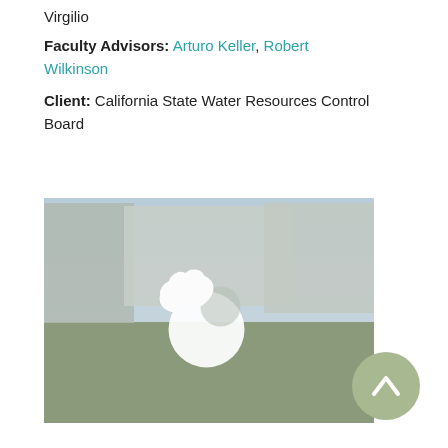Virgilio
Faculty Advisors: Arturo Keller, Robert Wilkinson
Client: California State Water Resources Control Board
[Figure (photo): Photograph of a university campus building with palm trees and grassy foreground, overlaid with a white circular logo featuring an oak leaf and water drop symbol]